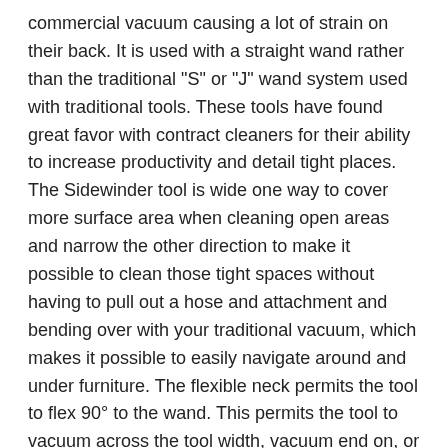commercial vacuum causing a lot of strain on their back. It is used with a straight wand rather than the traditional "S" or "J" wand system used with traditional tools. These tools have found great favor with contract cleaners for their ability to increase productivity and detail tight places. The Sidewinder tool is wide one way to cover more surface area when cleaning open areas and narrow the other direction to make it possible to clean those tight spaces without having to pull out a hose and attachment and bending over with your traditional vacuum, which makes it possible to easily navigate around and under furniture. The flexible neck permits the tool to flex 90° to the wand. This permits the tool to vacuum across the tool width, vacuum end on, or to vacuum vertical surfaces with equal effectiveness. The Sidewinder tools are perfect low cost solution for your commercial cleaning needs. Compares favorably with the Proteam Pro-Blade 107527, trademarks of Emerson Electric.
Extra Information